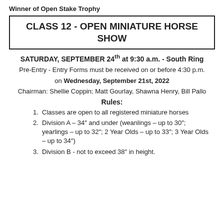Winner of Open Stake Trophy
CLASS 12 - OPEN MINIATURE HORSE SHOW
SATURDAY, SEPTEMBER 24th at 9:30 a.m. - South Ring
Pre-Entry - Entry Forms must be received on or before 4:30 p.m.
on Wednesday, September 21st, 2022
Chairman: Shellie Coppin; Matt Gourlay, Shawna Henry, Bill Pallo
Rules:
Classes are open to all registered miniature horses
Division A – 34" and under (weanlings – up to 30"; yearlings – up to 32"; 2 Year Olds – up to 33"; 3 Year Olds – up to 34")
Division B - not to exceed 38" in height.